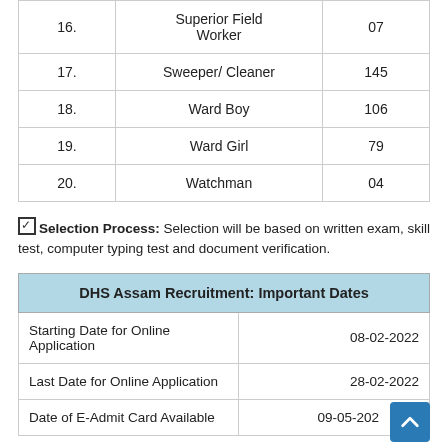| Sr. No. | Post Name | Vacancies |
| --- | --- | --- |
| 16. | Superior Field Worker | 07 |
| 17. | Sweeper/ Cleaner | 145 |
| 18. | Ward Boy | 106 |
| 19. | Ward Girl | 79 |
| 20. | Watchman | 04 |
☑ Selection Process: Selection will be based on written exam, skill test, computer typing test and document verification.
| DHS Assam Recruitment: Important Dates |
| --- |
| Starting Date for Online Application | 08-02-2022 |
| Last Date for Online Application | 28-02-2022 |
| Date of E-Admit Card Available | 09-05-202… |